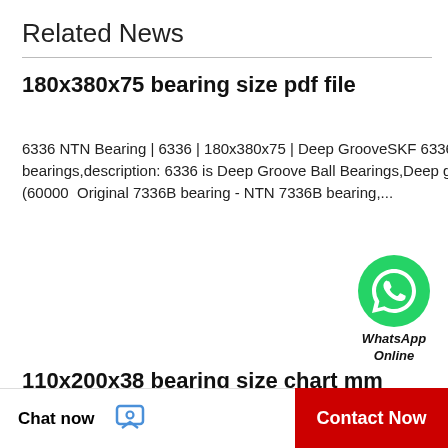Related News
180x380x75 bearing size pdf file
6336 NTN Bearing | 6336 | 180x380x75 | Deep GrooveSKF 6336 | 180x380x75 | Deep Groove Ball Beari NACHI 6336 bearings,description: 6336 is Deep Groove Ball Bearings,Deep groove ball bearing (60000  Original 7336B bearing - NTN 7336B bearing,...
[Figure (illustration): WhatsApp Online green circle icon with phone handset, labeled 'WhatsApp Online']
110x200x38 bearing size chart mm
NU222MY Nachi Cylindrical Roller Bearing Bronze CageNU222MY Nachi Cylindrical Roller Bearing Bronze Cage Japan 110x200x38: Deep Groove Ball Bearing Amazon Industrial & Scientific D...
Chat now   Contact Now